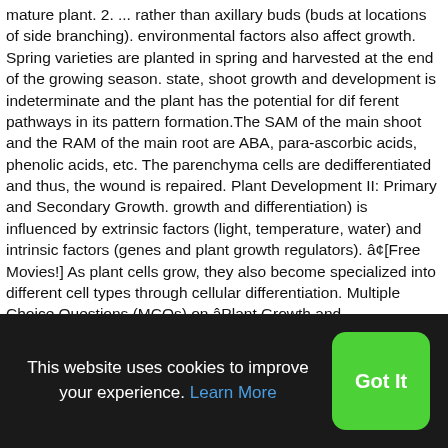mature plant. 2. ... rather than axillary buds (buds at locations of side branching). environmental factors also affect growth. Spring varieties are planted in spring and harvested at the end of the growing season. state, shoot growth and development is indeterminate and the plant has the potential for dif ferent pathways in its pattern formation.The SAM of the main shoot and the RAM of the main root are ABA, para-ascorbic acids, phenolic acids, etc. The parenchyma cells are dedifferentiated and thus, the wound is repaired. Plant Development II: Primary and Secondary Growth. growth and differentiation) is influenced by extrinsic factors (light, temperature, water) and intrinsic factors (genes and plant growth regulators). â¢[Free Movies!] As plant cells grow, they also become specialized into different cell types through cellular differentiation. Multiple Choice Questions (MCQs) on âPlant Growth and Developmentâ with answers and Test Reporting, Test No.
This website uses cookies to improve your experience. Learn More